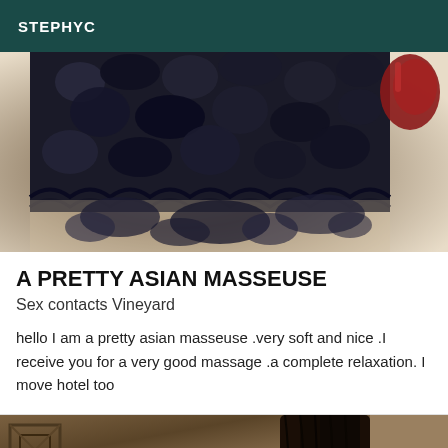STEPHYC
[Figure (photo): Close-up photo of a person wearing a black lace skirt/top with floral lace pattern, revealing skin beneath. A red object is partially visible in the upper right corner.]
A PRETTY ASIAN MASSEUSE
Sex contacts Vineyard
hello I am a pretty asian masseuse .very soft and nice .I receive you for a very good massage .a complete relaxation. I move hotel too
[Figure (photo): Partial photo showing dark hair against a warm brown/tan background, visible at the bottom of the page.]